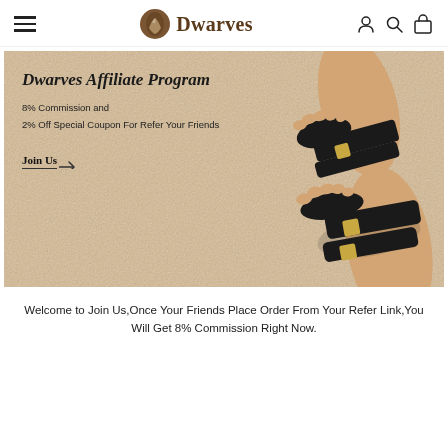Dwarves (logo with hamburger menu and icons)
[Figure (photo): Dwarves Affiliate Program banner image showing two legs wearing black leather sandals on a beige textured background. Text overlay reads: Dwarves Affiliate Program, 8% Commission and 2% Off Special Coupon For Refer Your Friends, Join Us button with arrow.]
Welcome to Join Us,Once Your Friends Place Order From Your Refer Link,You Will Get 8% Commission Right Now.